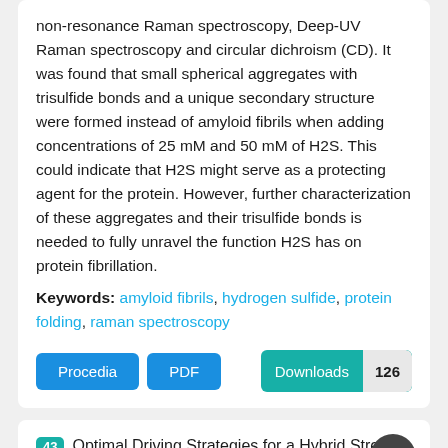non-resonance Raman spectroscopy, Deep-UV Raman spectroscopy and circular dichroism (CD). It was found that small spherical aggregates with trisulfide bonds and a unique secondary structure were formed instead of amyloid fibrils when adding concentrations of 25 mM and 50 mM of H2S. This could indicate that H2S might serve as a protecting agent for the protein. However, further characterization of these aggregates and their trisulfide bonds is needed to fully unravel the function H2S has on protein fibrillation.
Keywords: amyloid fibrils, hydrogen sulfide, protein folding, raman spectroscopy
Procedia  PDF  Downloads 126
43  Optimal Driving Strategies for a Hybrid Street Type Motorcycle: Modelling and Control